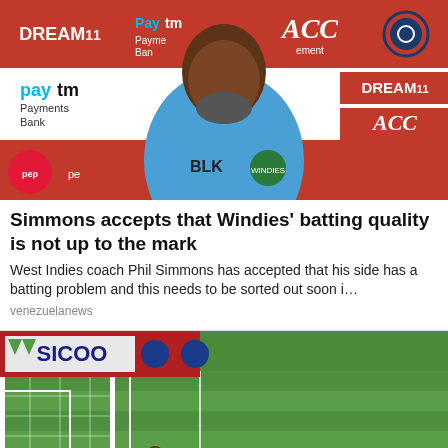[Figure (photo): Press conference photo of West Indies cricket coach Phil Simmons in blue BLK/Windies jersey, with branded backdrop showing DREAM11, Paytm Payments Bank, ACC logos]
Simmons accepts that Windies' batting quality is not up to the mark
West Indies coach Phil Simmons has accepted that his side has a batting problem and this needs to be sorted out soon i…
venezuelanews
[Figure (photo): Football/soccer match scene showing a goal post, green pitch, players in red and black kits, SICOO advertising board visible]